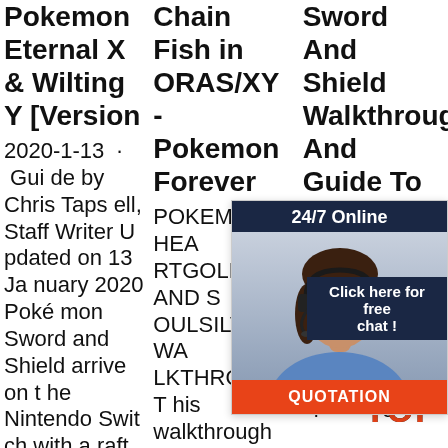Pokemon Eternal X & Wilting Y [Version
2020-1-13 · Guide by Chris Tapsell, Staff Writer Updated on 13 January 2020 Pokémon Sword and Shield arrive on the Nintendo Switch with a raft of new features, mechanics and systems - ...
Chain Fish in ORAS/XY - Pokemon Forever
POKEMON HEARTGOLD AND SOULSILVER WALKTHROUGH. This walkthrough will guide you through Pokemon HeartGold and SoulSilver - in terms of gameplay, there is a small differences between versions in th
Sword And Shield Walkthrough And Guide To
2019 ... Pokémon ... soon ... ow ... Pokemon ... ss o ... atu ... es, ... ls. As well as the walkthrough above, we also have a specific guide ...
[Figure (photo): Advertisement overlay showing a woman wearing a headset (customer service), with '24/7 Online' header, 'Click here for free chat!' text, and an orange QUOTATION button.]